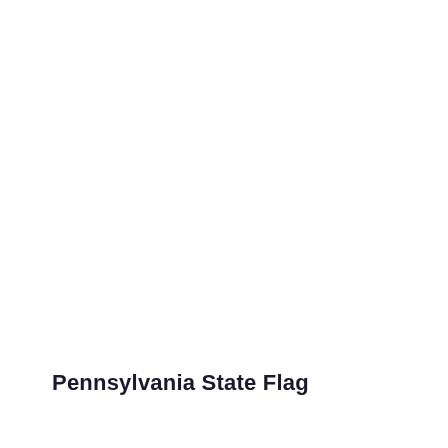[Figure (illustration): Empty white space representing where the Pennsylvania State Flag image would appear]
Pennsylvania State Flag